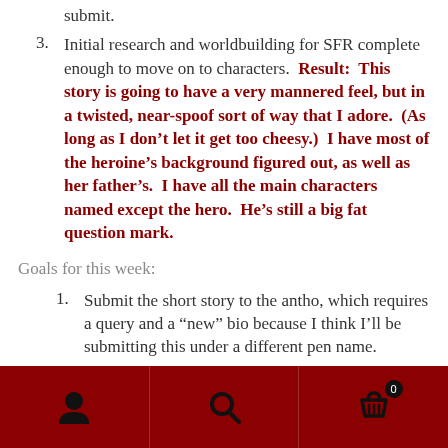3. Initial research and worldbuilding for SFR complete enough to move on to characters. Result: This story is going to have a very mannered feel, but in a twisted, near-spoof sort of way that I adore. (As long as I don't let it get too cheesy.) I have most of the heroine's background figured out, as well as her father's. I have all the main characters named except the hero. He's still a big fat question mark.
Goals for this week:
1. Submit the short story to the antho, which requires a query and a “new” bio because I think I’ll be submitting this under a different pen name.